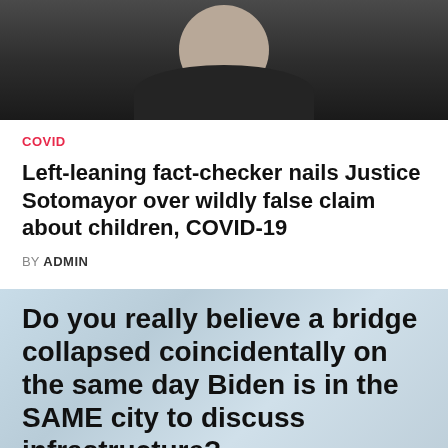[Figure (photo): Portrait photo of a person (Justice Sotomayor) with dark background]
COVID
Left-leaning fact-checker nails Justice Sotomayor over wildly false claim about children, COVID-19
BY ADMIN
[Figure (infographic): Light blue background image with bold black text reading: Do you really believe a bridge collapsed coincidentally on the same day Biden is in the SAME city to discuss infrastructure?]